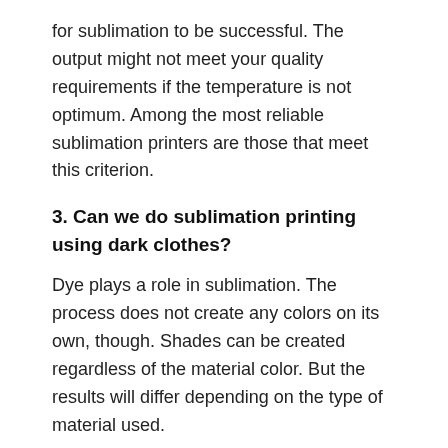for sublimation to be successful. The output might not meet your quality requirements if the temperature is not optimum. Among the most reliable sublimation printers are those that meet this criterion.
3. Can we do sublimation printing using dark clothes?
Dye plays a role in sublimation. The process does not create any colors on its own, though. Shades can be created regardless of the material color. But the results will differ depending on the type of material used.
Conclusion
The information we have provided in this article comes from a thorough review of various sublimation printers.